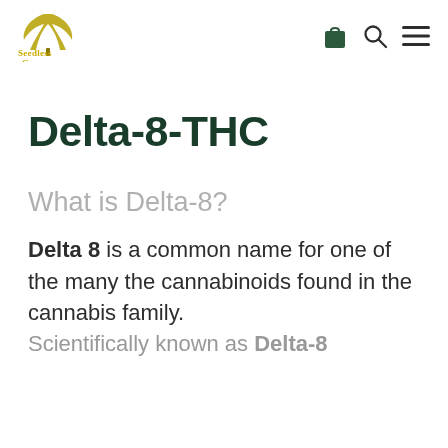Seedless Green [logo] [cart icon] [search icon] [menu icon]
Delta-8-THC
What is Delta-8?
Delta 8 is a common name for one of the many the cannabinoids found in the cannabis family. Scientifically known as Delta-8...